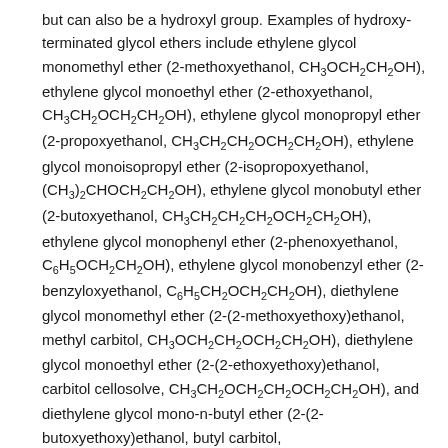but can also be a hydroxyl group. Examples of hydroxy-terminated glycol ethers include ethylene glycol monomethyl ether (2-methoxyethanol, CH3OCH2CH2OH), ethylene glycol monoethyl ether (2-ethoxyethanol, CH3CH2OCH2CH2OH), ethylene glycol monopropyl ether (2-propoxyethanol, CH3CH2CH2OCH2CH2OH), ethylene glycol monoisopropyl ether (2-isopropoxyethanol, (CH3)2CHOCH2CH2OH), ethylene glycol monobutyl ether (2-butoxyethanol, CH3CH2CH2CH2OCH2CH2OH), ethylene glycol monophenyl ether (2-phenoxyethanol, C6H5OCH2CH2OH), ethylene glycol monobenzyl ether (2-benzyloxyethanol, C6H5CH2OCH2CH2OH), diethylene glycol monomethyl ether (2-(2-methoxyethoxy)ethanol, methyl carbitol, CH3OCH2CH2OCH2CH2OH), diethylene glycol monoethyl ether (2-(2-ethoxyethoxy)ethanol, carbitol cellosolve, CH3CH2OCH2CH2OCH2CH2OH), and diethylene glycol mono-n-butyl ether (2-(2-butoxyethoxy)ethanol, butyl carbitol, CH3CH2CH2CH2OCH2CH2OCH2CH2OH). Examples of dialkyl ether glycol ethers include ethylene glycol dimethyl ether (dimethoxyethane,